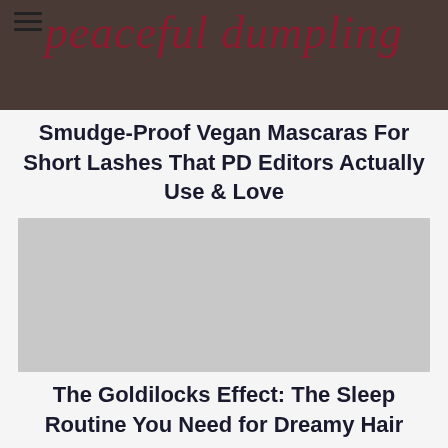[Figure (photo): Top portion of a photo showing a person, partially obscured by the site title overlay]
peaceful dumpling
Smudge-Proof Vegan Mascaras For Short Lashes That PD Editors Actually Use & Love
[Figure (photo): Gray placeholder image for an article]
The Goldilocks Effect: The Sleep Routine You Need for Dreamy Hair